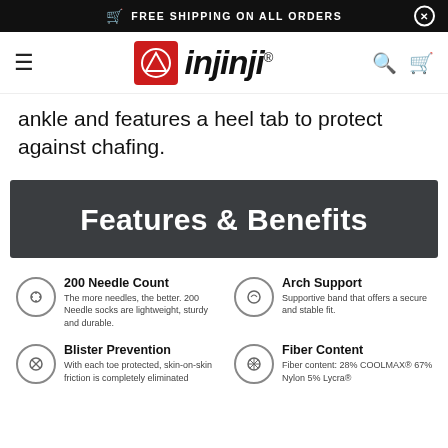FREE SHIPPING ON ALL ORDERS
[Figure (logo): Injinji brand logo with red square icon and italic black wordmark]
ankle and features a heel tab to protect against chafing.
Features & Benefits
200 Needle Count - The more needles, the better. 200 Needle socks are lightweight, sturdy and durable.
Arch Support - Supportive band that offers a secure and stable fit.
Blister Prevention - With each toe protected, skin-on-skin friction is completely eliminated.
Fiber Content - Fiber content: 28% COOLMAX® 67% Nylon 5% Lycra®